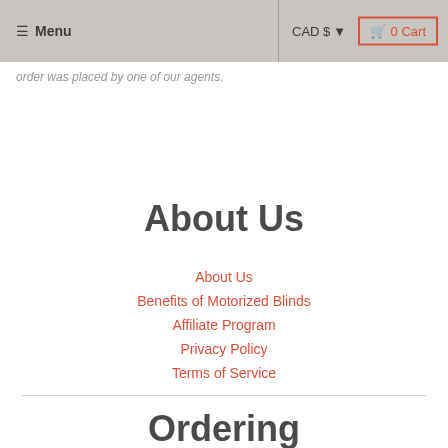≡ Menu | CAD $ ▾ | 🛒 0 Cart
order was placed by one of our agents.
About Us
About Us
Benefits of Motorized Blinds
Affiliate Program
Privacy Policy
Terms of Service
Ordering